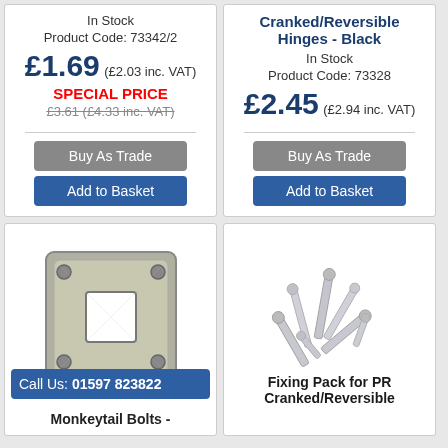In Stock
Product Code: 73342/2
£1.69 (£2.03 inc. VAT)
SPECIAL PRICE
£3.61 (£4.33 inc. VAT)
Buy As Trade
Add to Basket
Cranked/Reversible Hinges - Black
In Stock
Product Code: 73328
£2.45 (£2.94 inc. VAT)
Buy As Trade
Add to Basket
[Figure (photo): Metal square plate with a square hole in the center and four corner holes - Monkeytail Bolt component]
Call Us: 01597 823822
Monkeytail Bolts -
[Figure (photo): Collection of zinc-plated screws and bolts - Fixing Pack for PR Cranked/Reversible]
Fixing Pack for PR Cranked/Reversible